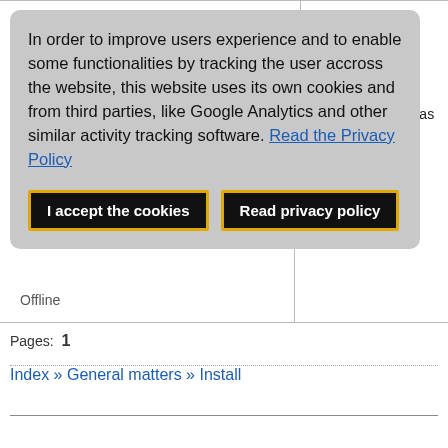In order to improve users experience and to enable some functionalities by tracking the user accross the website, this website uses its own cookies and from third parties, like Google Analytics and other similar activity tracking software. Read the Privacy Policy
I accept the cookies | Read privacy policy
software edition.
(c)XSIBackup-DC and refer to its manual to backup your (c)ESXi VMs as of 2021
Offline
Pages: 1
Index » General matters » Install